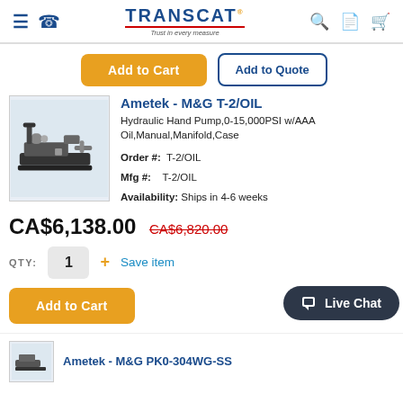TRANSCAT - Trust in every measure
Add to Cart | Add to Quote
[Figure (photo): Hydraulic hand pump product image on blue-white background]
Ametek - M&G T-2/OIL
Hydraulic Hand Pump,0-15,000PSI w/AAA Oil,Manual,Manifold,Case
Order #: T-2/OIL
Mfg #: T-2/OIL
Availability: Ships in 4-6 weeks
CA$6,138.00  CA$6,820.00
QTY: 1  + Save item
Add to Cart | Add to Quote | Live Chat
Ametek - M&G PK0-304WG-SS